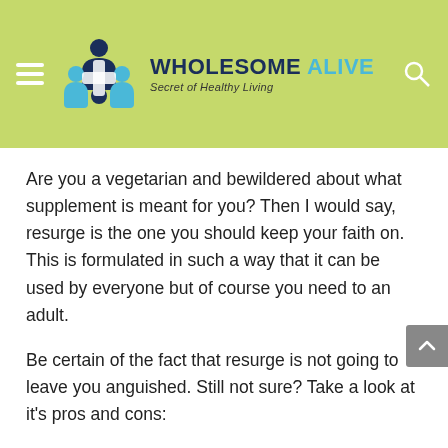WHOLESOME ALIVE — Secret of Healthy Living
Are you a vegetarian and bewildered about what supplement is meant for you? Then I would say, resurge is the one you should keep your faith on. This is formulated in such a way that it can be used by everyone but of course you need to an adult.
Be certain of the fact that resurge is not going to leave you anguished. Still not sure? Take a look at it's pros and cons:
PROS:
A simple to utilize dietary weight reduction